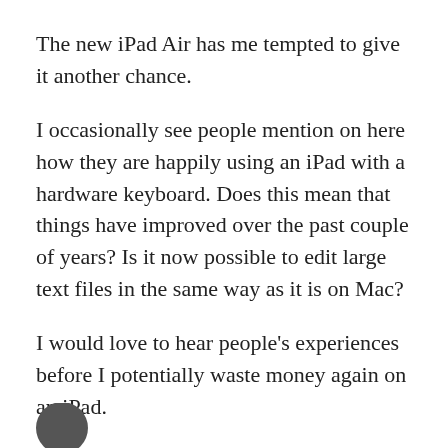The new iPad Air has me tempted to give it another chance.
I occasionally see people mention on here how they are happily using an iPad with a hardware keyboard. Does this mean that things have improved over the past couple of years? Is it now possible to edit large text files in the same way as it is on Mac?
I would love to hear people's experiences before I potentially waste money again on an iPad.
I would be looking at using apps such as IA Writer, 1Writer, or Drafts.
Thanks for your experiences and thoughts ☺
[Figure (illustration): Partial view of a circular avatar or profile icon at the bottom left]